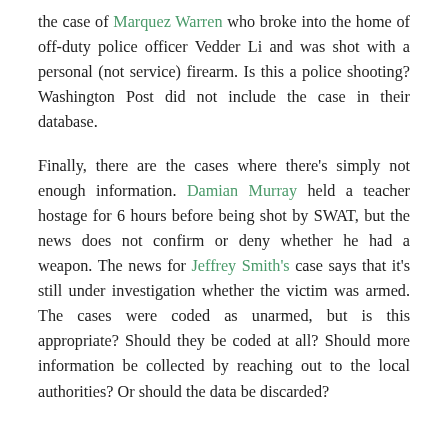the case of Marquez Warren who broke into the home of off-duty police officer Vedder Li and was shot with a personal (not service) firearm. Is this a police shooting? Washington Post did not include the case in their database.
Finally, there are the cases where there's simply not enough information. Damian Murray held a teacher hostage for 6 hours before being shot by SWAT, but the news does not confirm or deny whether he had a weapon. The news for Jeffrey Smith's case says that it's still under investigation whether the victim was armed. The cases were coded as unarmed, but is this appropriate? Should they be coded at all? Should more information be collected by reaching out to the local authorities? Or should the data be discarded?